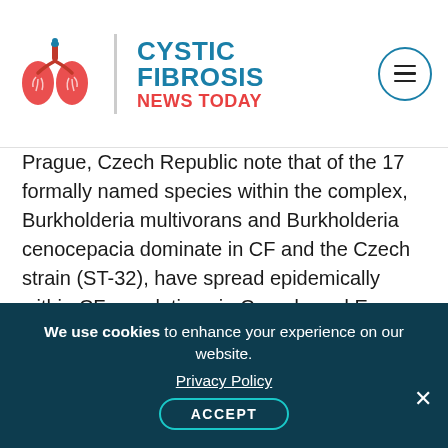[Figure (logo): Cystic Fibrosis News Today logo with red lungs illustration and teal/red brand text]
Prague, Czech Republic note that of the 17 formally named species within the complex, Burkholderia multivorans and Burkholderia cenocepacia dominate in CF and the Czech strain (ST-32), have spread epidemically within CF populations in Canada and Europe, and that with the wealth of molecular knowledge acquired in the last decade on B. cenocepacia strains, scientists are now in a much better position to develop strategies for the treatment of pathogenic colonization with Bcc and to answer key questions on pathogenesis concerning, for example, the factors that trigger
We use cookies to enhance your experience on our website.
Privacy Policy
ACCEPT